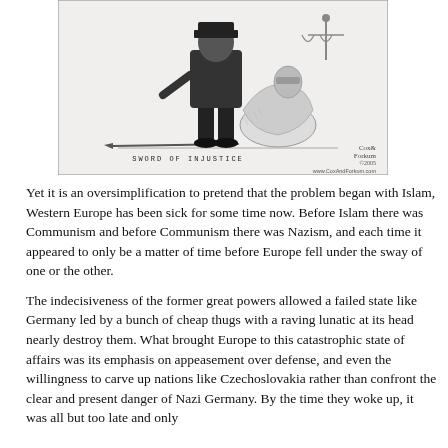[Figure (illustration): Political cartoon titled 'Sword of Injustice' by Cox and Forkum (www.CoxAndForkum.com). Shows two figures — one in dark clothing with boots standing over a robed figure of Justice lying on the ground with scales. A sword lies on the ground.]
SWORD OF INJUSTICE
Yet it is an oversimplification to pretend that the problem began with Islam, Western Europe has been sick for some time now. Before Islam there was Communism and before Communism there was Nazism, and each time it appeared to only be a matter of time before Europe fell under the sway of one or the other.
The indecisiveness of the former great powers allowed a failed state like Germany led by a bunch of cheap thugs with a raving lunatic at its head nearly destroy them. What brought Europe to this catastrophic state of affairs was its emphasis on appeasement over defense, and even the willingness to carve up nations like Czechoslovakia rather than confront the clear and present danger of Nazi Germany. By the time they woke up, it was all but too late and only